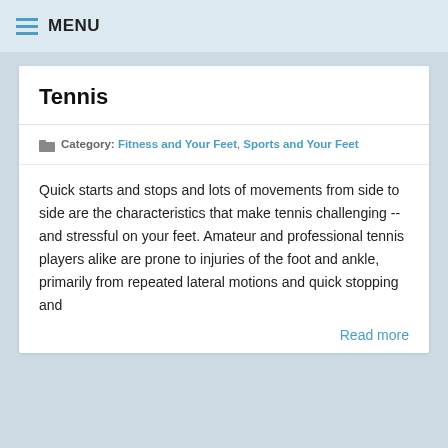MENU
Tennis
Category: Fitness and Your Feet, Sports and Your Feet
Quick starts and stops and lots of movements from side to side are the characteristics that make tennis challenging -- and stressful on your feet. Amateur and professional tennis players alike are prone to injuries of the foot and ankle, primarily from repeated lateral motions and quick stopping and
Read more